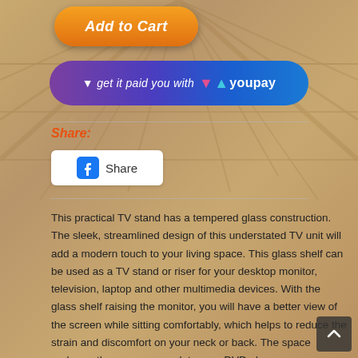[Figure (other): Orange 'Add to Cart' button with rounded pill shape]
[Figure (other): YouPay payment banner button with gradient purple-to-blue background, text 'get it paid you with' and YouPay logo]
Share:
[Figure (other): Facebook Share button with Facebook logo icon and 'Share' text]
This practical TV stand has a tempered glass construction. The sleek, streamlined design of this understated TV unit will add a modern touch to your living space. This glass shelf can be used as a TV stand or riser for your desktop monitor, television, laptop and other multimedia devices. With the glass shelf raising the monitor, you will have a better view of the screen while sitting comfortably, which helps to reduce the strain and discomfort on your neck or back. The space underneath can accommodate your DVD player, game console, streaming device, receivers, and media carriers. The glass frame is tempered for added strength and safety. The smooth surface is easy to clean with only a damp cloth.